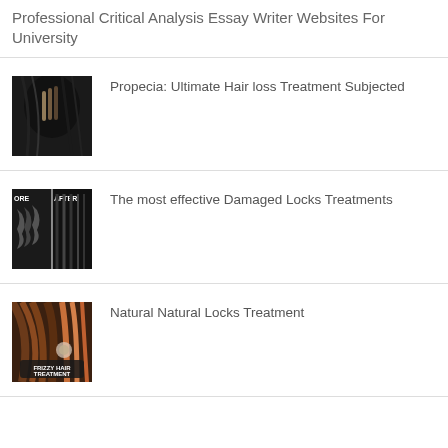Professional Critical Analysis Essay Writer Websites For University
Propecia: Ultimate Hair loss Treatment Subjected
The most effective Damaged Locks Treatments
Natural Natural Locks Treatment